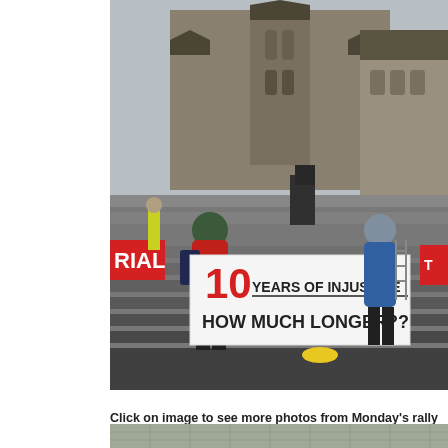[Figure (photo): Protesters on the steps of Parliament Hill in Ottawa holding a large banner reading '10 YEARS OF INJUSTICE HOW MUCH LONGER??' with a red number 10. People hold signs including one partially visible reading 'RIAL' on the left. Gothic parliamentary buildings visible in background. Overcast day.]
Click on image to see more photos from Monday's rally and visual presentation on Parliament Hill
[Figure (photo): Partial photo at bottom of page, appears to show stone steps or a building exterior, cropped.]